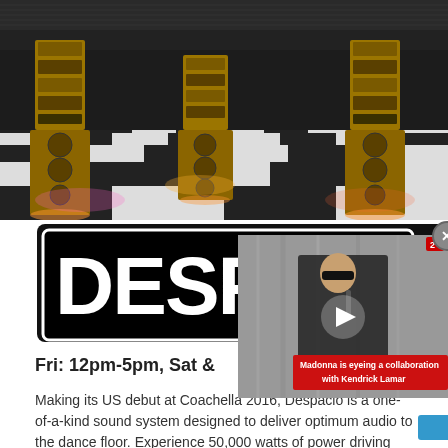[Figure (photo): A large room with black and white checkered floor, three tall stacks of glowing golden speaker systems/sound systems standing in the space, with dramatic lighting reflecting on the floor.]
[Figure (photo): A black panel/logo showing the text 'DESPA' in large white bold letters inside a rounded rectangle border, partially obscured by an overlapping video thumbnail.]
[Figure (screenshot): An overlapping video player thumbnail showing a woman in black sunglasses and black jacket, with a red banner reading 'Madonna is eyeing a collaboration with Kendrick Lamar', and a play button triangle. A small circular X close button appears at top right.]
Fri: 12pm-5pm, Sat &
Making its US debut at Coachella 2016, Despacio is a one-of-a-kind sound system designed to deliver optimum audio to the dance floor. Experience 50,000 watts of power driving